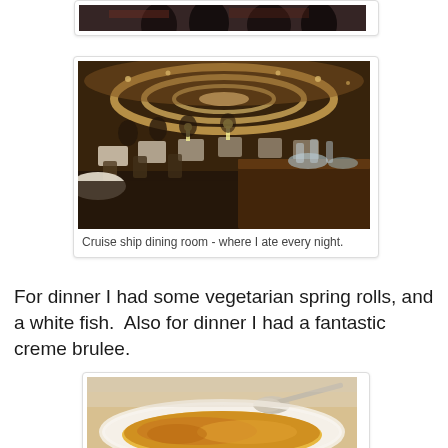[Figure (photo): Top of a photo showing people gathered, dark/dim setting, partially cropped at the top of the page]
[Figure (photo): Cruise ship formal dining room with circular ceiling light, tables with white tablecloths, candles, and many diners seated]
Cruise ship dining room - where I ate every night.
For dinner I had some vegetarian spring rolls, and a white fish.  Also for dinner I had a fantastic creme brulee.
[Figure (photo): Close-up of a creme brulee dessert in a white bowl with a spoon, showing caramelized orange/amber top]